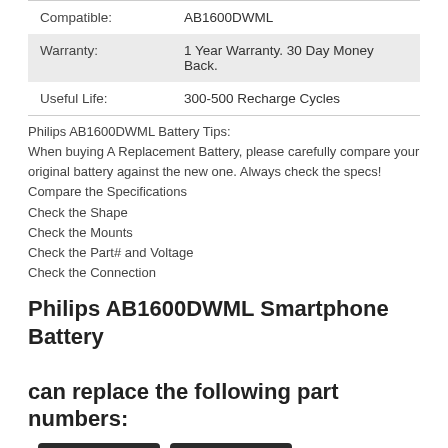| Compatible: | AB1600DWML |
| Warranty: | 1 Year Warranty. 30 Day Money Back. |
| Useful Life: | 300-500 Recharge Cycles |
Philips AB1600DWML Battery Tips:
When buying A Replacement Battery, please carefully compare your original battery against the new one. Always check the specs!
Compare the Specifications
Check the Shape
Check the Mounts
Check the Part# and Voltage
Check the Connection
Philips AB1600DWML Smartphone Battery can replace the following part numbers:
AB1600DWMT   AB1600DWML